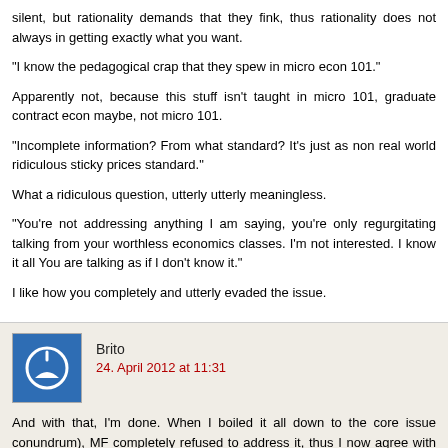silent, but rationality demands that they fink, thus rationality does not always help in getting exactly what you want.
“I know the pedagogical crap that they spew in micro econ 101.”
Apparently not, because this stuff isn’t taught in micro 101, graduate contract econ maybe, not micro 101.
“Incomplete information? From what standard? It’s just as non real world as the ridiculous sticky prices standard.”
What a ridiculous question, utterly utterly meaningless.
“You’re not addressing anything I am saying, you’re only regurgitating talking points from your worthless economics classes. I’m not interested. I know it all already. You are talking as if I don’t know it.”
I like how you completely and utterly evaded the issue.
Brito
24. April 2012 at 11:31
And with that, I’m done. When I boiled it all down to the core issue (the conundrum), MF completely refused to address it, thus I now agree with D that MF 100% cannot be reasoned with.